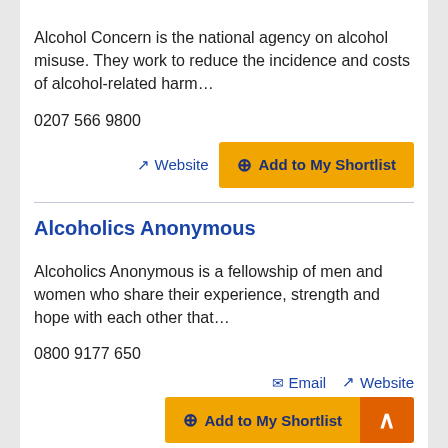Alcohol Concern is the national agency on alcohol misuse. They work to reduce the incidence and costs of alcohol-related harm…
0207 566 9800
Website | Add to My Shortlist
Alcoholics Anonymous
Alcoholics Anonymous is a fellowship of men and women who share their experience, strength and hope with each other that…
0800 9177 650
Email | Website | Add to My Shortlist